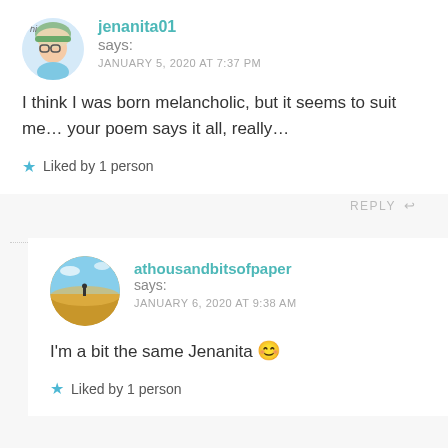jenanita01 says: JANUARY 5, 2020 AT 7:37 PM
I think I was born melancholic, but it seems to suit me… your poem says it all, really…
★ Liked by 1 person
REPLY ↩
athousandbitsofpaper says: JANUARY 6, 2020 AT 9:38 AM
I'm a bit the same Jenanita 😊
★ Liked by 1 person